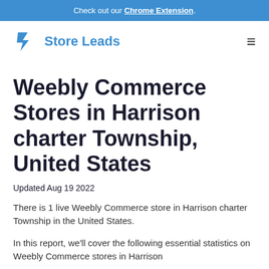Check out our Chrome Extension.
[Figure (logo): Store Leads logo with lightning bolt icon and text 'Store Leads']
Weebly Commerce Stores in Harrison charter Township, United States
Updated Aug 19 2022
There is 1 live Weebly Commerce store in Harrison charter Township in the United States.
In this report, we'll cover the following essential statistics on Weebly Commerce stores in Harrison